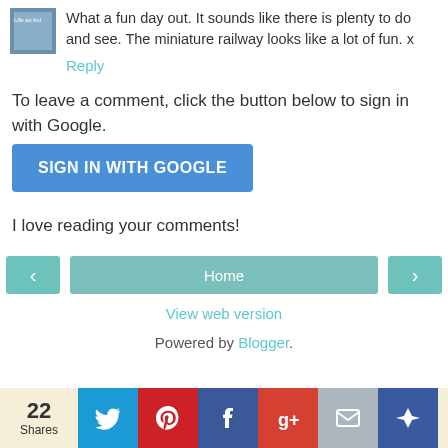[Figure (photo): Small avatar thumbnail image of a person or scene]
What a fun day out. It sounds like there is plenty to do and see. The miniature railway looks like a lot of fun. x
Reply
To leave a comment, click the button below to sign in with Google.
[Figure (other): SIGN IN WITH GOOGLE button]
I love reading your comments!
[Figure (other): Navigation bar with left arrow, Home button, and right arrow]
View web version
Powered by Blogger.
22 Shares
[Figure (other): Social share icons: Twitter, Pinterest, Facebook, Google+, Mail, Crown]